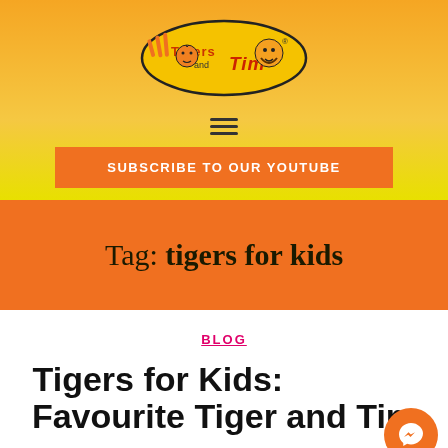[Figure (logo): Tigers and Tim logo — oval shape with cartoon tiger and man, orange/yellow coloring]
[Figure (other): Hamburger menu icon (three horizontal lines)]
SUBSCRIBE TO OUR YOUTUBE
Tag: tigers for kids
BLOG
Tigers for Kids: Favourite Tiger and Tim